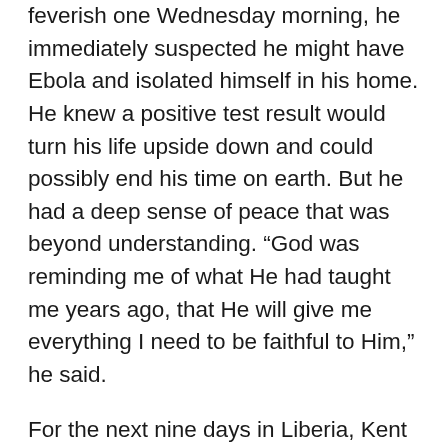feverish one Wednesday morning, he immediately suspected he might have Ebola and isolated himself in his home. He knew a positive test result would turn his life upside down and could possibly end his time on earth. But he had a deep sense of peace that was beyond understanding. “God was reminding me of what He had taught me years ago, that He will give me everything I need to be faithful to Him,” he said.
For the next nine days in Liberia, Kent gradually grew sicker and weaker. All the while, his family back home and thousands of people around the world followed his progress and pleaded with the Lord to spare his life. “You think you are praying as hard as you can, and something happens and